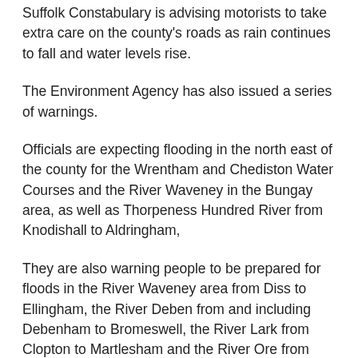Suffolk Constabulary is advising motorists to take extra care on the county's roads as rain continues to fall and water levels rise.
The Environment Agency has also issued a series of warnings.
Officials are expecting flooding in the north east of the county for the Wrentham and Chediston Water Courses and the River Waveney in the Bungay area, as well as Thorpeness Hundred River from Knodishall to Aldringham,
They are also warning people to be prepared for floods in the River Waveney area from Diss to Ellingham, the River Deben from and including Debenham to Bromeswell, the River Lark from Clopton to Martlesham and the River Ore from Framlingham to Blaxhall.
Areas of Newmarket are also at risk of groundwater